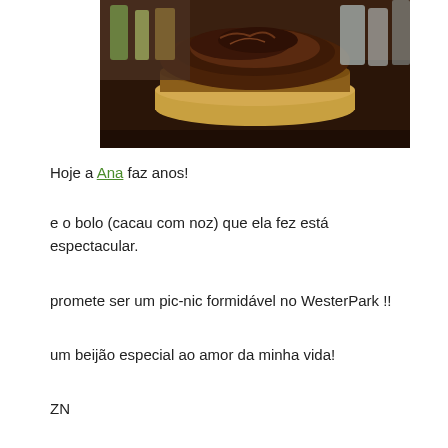[Figure (photo): A chocolate cake covered in cocoa powder on a round plate, sitting on a dark counter, with bottles and glasses visible in the background.]
Hoje a Ana faz anos!
e o bolo (cacau com noz) que ela fez está espectacular.
promete ser um pic-nic formidável no WesterPark !!
um beijão especial ao amor da minha vida!
ZN